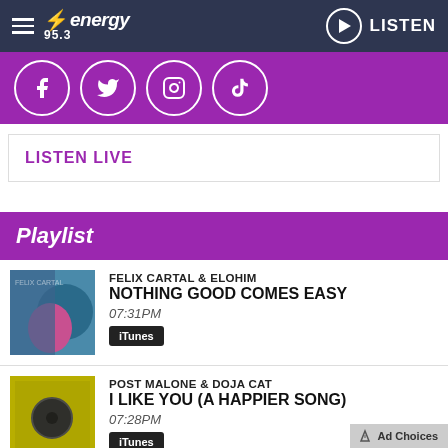Energy 95.3 — LISTEN
[Figure (screenshot): Social media icons: Facebook, Twitter, Instagram, TikTok on purple background]
LISTEN LIVE
Playlist
FELIX CARTAL & ELOHIM — NOTHING GOOD COMES EASY — 07:31PM — iTunes
POST MALONE & DOJA CAT — I LIKE YOU (A HAPPIER SONG) — 07:28PM — iTunes
SOUL DECISION